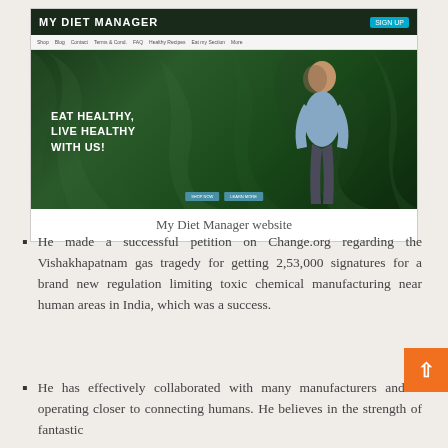[Figure (screenshot): Screenshot of My Diet Manager website showing a hero section with a woman posing among tropical plants and the text EAT HEALTHY, LIVE HEALTHY WITH US! overlaid on the image, with navigation header bar at top]
My Diet Manager website
He made a successful petition on Change.org regarding the Vishakhapatnam gas tragedy for getting 2,53,000 signatures for a brand new regulation limiting toxic chemical manufacturing near human areas in India, which was a success.
He has effectively collaborated with many manufacturers and is operating closer to connecting humans. He believes in the strength of fantastic